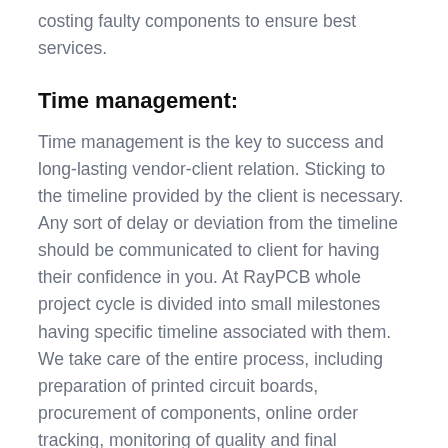costing faulty components to ensure best services.
Time management:
Time management is the key to success and long-lasting vendor-client relation. Sticking to the timeline provided by the client is necessary. Any sort of delay or deviation from the timeline should be communicated to client for having their confidence in you. At RayPCB whole project cycle is divided into small milestones having specific timeline associated with them. We take care of the entire process, including preparation of printed circuit boards, procurement of components, online order tracking, monitoring of quality and final assembly.